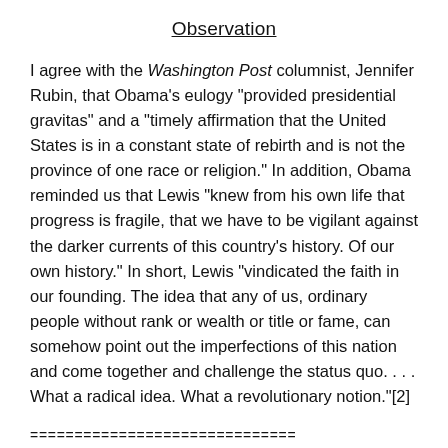Observation
I agree with the Washington Post columnist, Jennifer Rubin, that Obama’s eulogy “provided presidential gravitas” and a “timely affirmation that the United States is in a constant state of rebirth and is not the province of one race or religion.” In addition, Obama reminded us that Lewis “knew from his own life that progress is fragile, that we have to be vigilant against the darker currents of this country’s history. Of our own history.” In short, Lewis “vindicated the faith in our founding. The idea that any of us, ordinary people without rank or wealth or title or fame, can somehow point out the imperfections of this nation and come together and challenge the status quo. . . . What a radical idea. What a revolutionary notion.”[2]
==============================
[1] Read the Full Transcript of Obama’s Eulogy for John